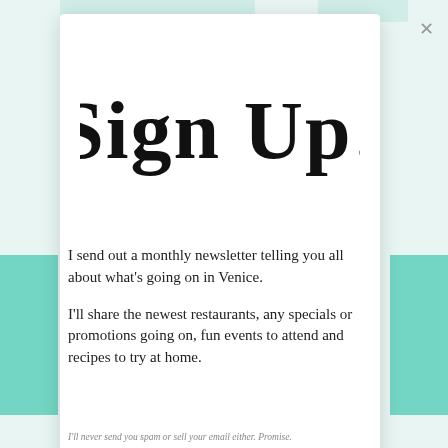Sign Up!
I send out a monthly newsletter telling you all about what's going on in Venice.
I'll share the newest restaurants, any specials or promotions going on, fun events to attend and recipes to try at home.
I'll never send you spam or sell your email either. Promise.
[Figure (screenshot): No compatible source was found for this media. Video error overlay with grey background.]
[Figure (screenshot): Ad strip showing restaurant options: Dine-in, Curbside pickup with a navigation icon and chef logo.]